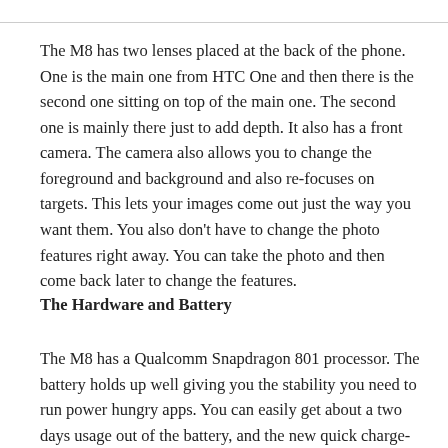The M8 has two lenses placed at the back of the phone. One is the main one from HTC One and then there is the second one sitting on top of the main one. The second one is mainly there just to add depth. It also has a front camera. The camera also allows you to change the foreground and background and also re-focuses on targets. This lets your images come out just the way you want them. You also don't have to change the photo features right away. You can take the photo and then come back later to change the features.
The Hardware and Battery
The M8 has a Qualcomm Snapdragon 801 processor. The battery holds up well giving you the stability you need to run power hungry apps. You can easily get about a two days usage out of the battery, and the new quick charge-ability means you